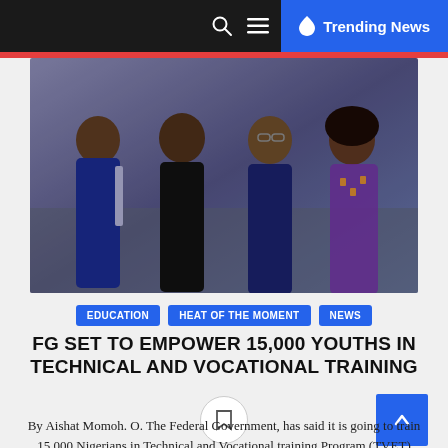Trending News
[Figure (photo): Four people standing together in a formal setting — two men and two women posing for a photo indoors. The man on the left wears a blue suit, the second man wears black, the woman wears a navy dress, and the woman on the right wears a purple patterned outfit.]
EDUCATION   HEAT OF THE MOMENT   NEWS
FG SET TO EMPOWER 15,000 YOUTHS IN TECHNICAL AND VOCATIONAL TRAINING
By Aishat Momoh. O. The Federal Government, has said it is going to train 15,000 Nigerians in Technical and Vocational training Program (TVET) through the